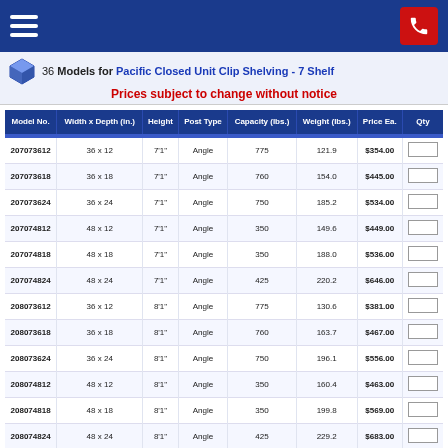Navigation header with menu and phone button
36 Models for Pacific Closed Unit Clip Shelving - 7 Shelf
Prices subject to change without notice
| Model No. | Width x Depth (in.) | Height | Post Type | Capacity (lbs.) | Weight (lbs.) | Price Ea. | Qty |
| --- | --- | --- | --- | --- | --- | --- | --- |
| 207073612 | 36 x 12 | 7'1" | Angle | 775 | 121.9 | $354.00 |  |
| 207073618 | 36 x 18 | 7'1" | Angle | 760 | 154.0 | $445.00 |  |
| 207073624 | 36 x 24 | 7'1" | Angle | 750 | 185.2 | $534.00 |  |
| 207074812 | 48 x 12 | 7'1" | Angle | 350 | 149.6 | $449.00 |  |
| 207074818 | 48 x 18 | 7'1" | Angle | 350 | 188.0 | $536.00 |  |
| 207074824 | 48 x 24 | 7'1" | Angle | 425 | 220.2 | $646.00 |  |
| 208073612 | 36 x 12 | 8'1" | Angle | 775 | 130.6 | $381.00 |  |
| 208073618 | 36 x 18 | 8'1" | Angle | 760 | 163.7 | $467.00 |  |
| 208073624 | 36 x 24 | 8'1" | Angle | 750 | 196.1 | $556.00 |  |
| 208074812 | 48 x 12 | 8'1" | Angle | 350 | 160.4 | $463.00 |  |
| 208074818 | 48 x 18 | 8'1" | Angle | 350 | 199.8 | $569.00 |  |
| 208074824 | 48 x 24 | 8'1" | Angle | 425 | 229.2 | $683.00 |  |
| 407073612 | 36 x 12 | 7'1" | Delta | 775 | 124.1 | $367.00 |  |
| 407073618 | 36 x 18 | 7'1" | Delta | 760 | 156.2 | $447.00 |  |
| 407073624 | 36 x 24 | 7'1" | Delta | 750 | 187.4 | $537.00 |  |
| 407074812 | 48 x 12 | 7'1" | Delta | 350 | 151.8 | $472.00 |  |
| 407074818 | 48 x 18 | 7'1" | Delta | 350 | 190.2 | $541.00 |  |
| 407074824 | 48 x 24 | 7'1" | Delta | 425 | 228.4 | $659.00 |  |